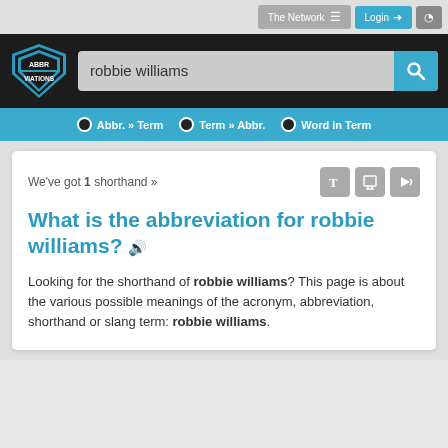The Network  Login
[Figure (logo): Abbreviations.com shield logo with teal and white design]
robbie williams (search input)
Abbr. » Term   Term » Abbr.   Word in Term
We've got 1 shorthand »
What is the abbreviation for robbie williams?
Looking for the shorthand of robbie williams? This page is about the various possible meanings of the acronym, abbreviation, shorthand or slang term: robbie williams.